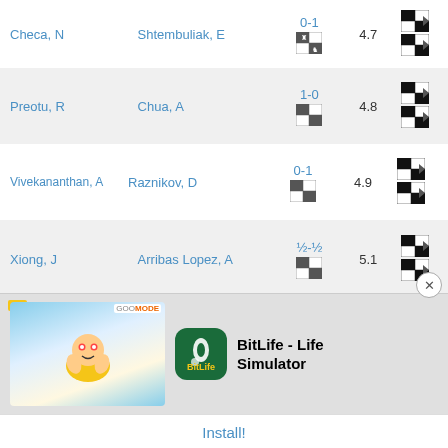| Player 1 | Player 2 | Result | Round | Actions |
| --- | --- | --- | --- | --- |
| Checa, N | Shtembuliak, E | 0-1 | 4.7 |  |
| Preotu, R | Chua, A | 1-0 | 4.8 |  |
| Vivekananthan, A | Raznikov, D | 0-1 | 4.9 |  |
| Xiong, J | Arribas Lopez, A | ½-½ | 5.1 |  |
| Patel, A | Guo, A | 1-0 | 5.10 |  |
| Ostrov... |  |  |  |  |
| Drozdc... |  |  |  |  |
[Figure (screenshot): BitLife - Life Simulator app advertisement with Install button]